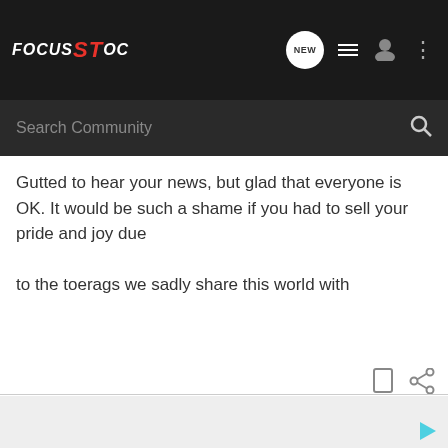FOCUS ST OC
Search Community
Gutted to hear your news, but glad that everyone is OK. It would be such a shame if you had to sell your pride and joy due

to the toerags we sadly share this world with